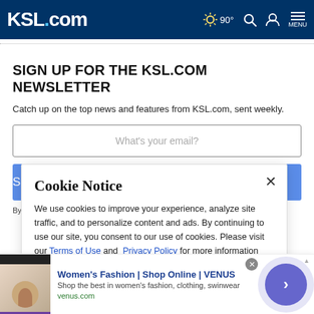KSL.com  90°  [search] [account] MENU
SIGN UP FOR THE KSL.COM NEWSLETTER
Catch up on the top news and features from KSL.com, sent weekly.
What's your email? [input field]
Subscribe [button]
By subscribing, you acknowledge and agree to KSL.com's Terms of Use and
Cookie Notice
We use cookies to improve your experience, analyze site traffic, and to personalize content and ads. By continuing to use our site, you consent to our use of cookies. Please visit our Terms of Use and Privacy Policy for more information
Women's Fashion | Shop Online | VENUS  Shop the best in women's fashion, clothing, swinwear  venus.com